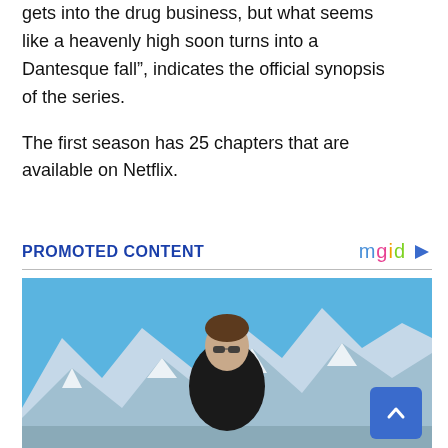gets into the drug business, but what seems like a heavenly high soon turns into a Dantesque fall", indicates the official synopsis of the series.
The first season has 25 chapters that are available on Netflix.
PROMOTED CONTENT
[Figure (photo): Woman wearing sunglasses and a black Prada turtleneck sweater, sitting against a backdrop of snow-capped mountains under a bright blue sky.]